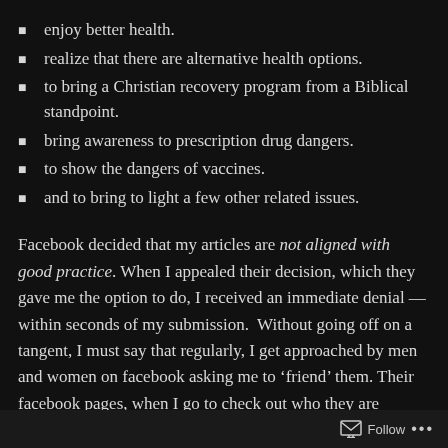enjoy better health.
realize that there are alternative health options.
to bring a Christian recovery program from a Biblical standpoint.
bring awareness to prescription drug dangers.
to show the dangers of vaccines.
and to bring to light a few other related issues.
Facebook decided that my articles are not aligned with good practice. When I appealed their decision, which they gave me the option to do, I received an immediate denial — within seconds of my submission.  Without going off on a tangent, I must say that regularly, I get approached by men and women on facebook asking me to ‘friend’ them. Their facebook pages, when I go to check out who they are before I accept their friend requests, have them
Follow